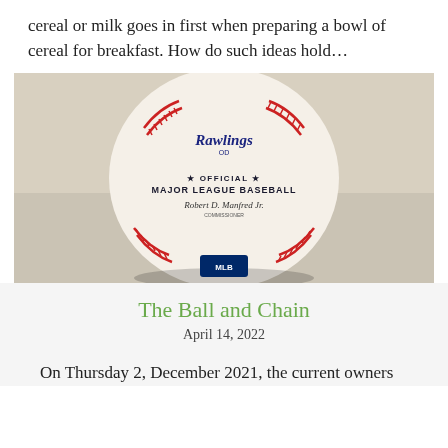cereal or milk goes in first when preparing a bowl of cereal for breakfast. How do such ideas hold…
[Figure (photo): A Rawlings Official Major League Baseball shown from the front, displaying red stitching and the text '★ OFFICIAL ★ MAJOR LEAGUE BASEBALL' with a commissioner's signature (Robert D. Manfred Jr.), on a light beige background. MLB logo visible at bottom.]
The Ball and Chain
April 14, 2022
On Thursday 2, December 2021, the current owners